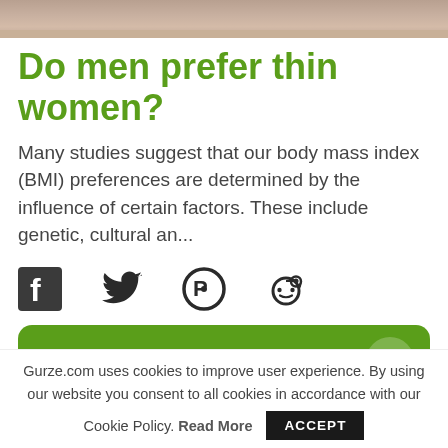[Figure (photo): Partial photo strip at top of page showing what appears to be dirt or soil with a bird partially visible]
Do men prefer thin women?
Many studies suggest that our body mass index (BMI) preferences are determined by the influence of certain factors. These include genetic, cultural an...
[Figure (infographic): Social media share icons: Facebook, Twitter, Pinterest, Reddit]
[Figure (infographic): Green rounded card banner with profile thumbnail and upward arrow]
Gurze.com uses cookies to improve user experience. By using our website you consent to all cookies in accordance with our Cookie Policy. Read More ACCEPT